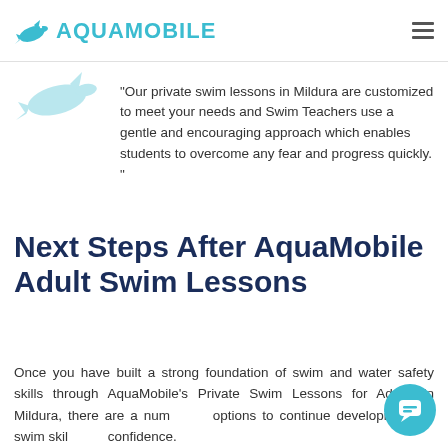AQUAMOBILE
"Our private swim lessons in Mildura are customized to meet your needs and Swim Teachers use a gentle and encouraging approach which enables students to overcome any fear and progress quickly."
Next Steps After AquaMobile Adult Swim Lessons
Once you have built a strong foundation of swim and water safety skills through AquaMobile's Private Swim Lessons for Adults in Mildura, there are a number of options to continue developing your swim skills and confidence.